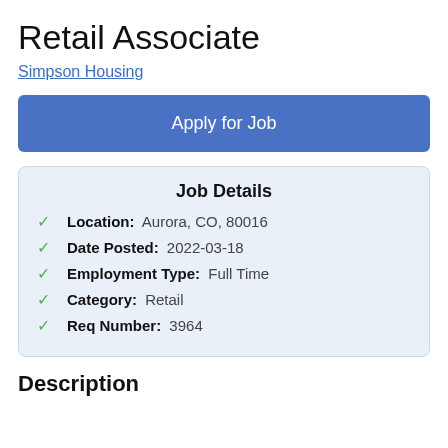Retail Associate
Simpson Housing
Apply for Job
Job Details
Location: Aurora, CO, 80016
Date Posted: 2022-03-18
Employment Type: Full Time
Category: Retail
Req Number: 3964
Description